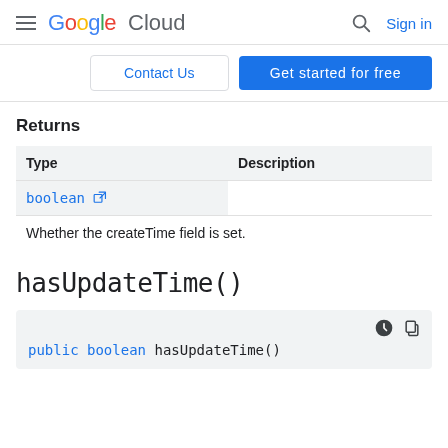Google Cloud — Sign in
[Figure (screenshot): Contact Us and Get started for free buttons]
Returns
| Type | Description |
| --- | --- |
| boolean [external link] | Whether the createTime field is set. |
hasUpdateTime()
public boolean hasUpdateTime()